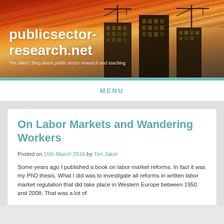[Figure (photo): Website header banner with warm orange/red sunset sky and silhouetted construction cranes and buildings, showing the publicsector-research.net logo and tagline]
publicsector-research.net
Tim Jäkel | Blog about public sector research and teaching
MENU
On Labor Markets and Wandering Workers
Posted on 15th March 2016 by Tim Jakel
Some years ago I published a book on labor market reforms. In fact it was my PhD thesis. What I did was to investigate all reforms in written labor market regulation that did take place in Western Europe between 1950 and 2008. That was a lot of